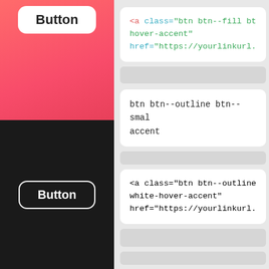[Figure (screenshot): Button UI component displayed on a pink/red gradient background with white rounded button labeled 'Button']
<a class="btn btn--fill bt hover-accent" href="https://yourlinkurl.
btn btn--outline btn--smal accent
[Figure (screenshot): Button UI component displayed on a dark background with an outline-style white button labeled 'Button']
<a class="btn btn--outline white-hover-accent" href="https://yourlinkurl.